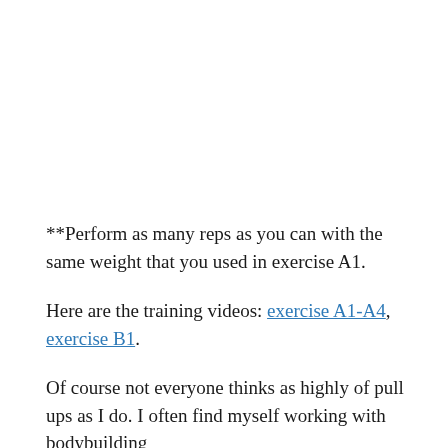**Perform as many reps as you can with the same weight that you used in exercise A1.
Here are the training videos: exercise A1-A4, exercise B1.
Of course not everyone thinks as highly of pull ups as I do. I often find myself working with bodybuilding clients who are not strong enough to perform any of